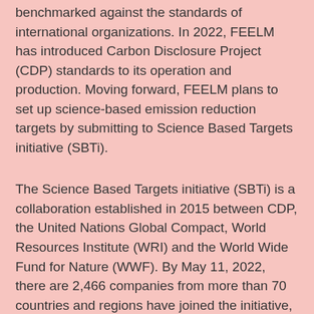benchmarked against the standards of international organizations. In 2022, FEELM has introduced Carbon Disclosure Project (CDP) standards to its operation and production. Moving forward, FEELM plans to set up science-based emission reduction targets by submitting to Science Based Targets initiative (SBTi).
The Science Based Targets initiative (SBTi) is a collaboration established in 2015 between CDP, the United Nations Global Compact, World Resources Institute (WRI) and the World Wide Fund for Nature (WWF). By May 11, 2022, there are 2,466 companies from more than 70 countries and regions have joined the initiative, including 152 Chinese companies and one fifth of Forbes 500 companies.
“As a pioneer in going global in Chinese vaping industry, FEELM has been leveraging its full supply chain advantages and fundamental R&D in reducing carbon footprints. As China has pledged to be carbon neutral by 2060, FEELM is